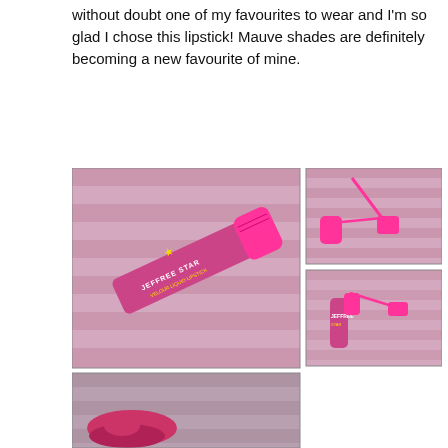without doubt one of my favourites to wear and I'm so glad I chose this lipstick! Mauve shades are definitely becoming a new favourite of mine.
[Figure (photo): Collage of four photos showing a Jeffree Star Velour Liquid Lipstick in a pink tube with applicator, displayed on a pink and brown striped fabric background, and a close-up of lips wearing the product.]